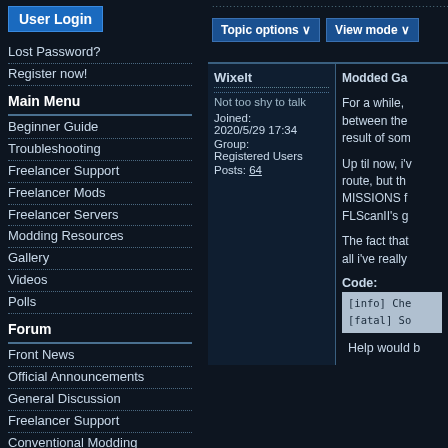User Login
Lost Password?
Register now!
Main Menu
Beginner Guide
Troubleshooting
Freelancer Support
Freelancer Mods
Freelancer Servers
Modding Resources
Gallery
Videos
Polls
Forum
Front News
Official Announcements
General Discussion
Freelancer Support
Conventional Modding
Chat
Join the Freelancer Community Discord Server by Clicking Here!
Topic options ∨   View mode ∨
Wixelt
Not too shy to talk
Joined: 2020/5/29 17:34
Group: Registered Users
Posts: 64
Modded Ga…
For a while, between the… result of som…
Up til now, i've… route, but th… MISSIONS f… FLScanII's g…
The fact that… all i've really…
Code:
[info] Che…
[fatal] So…
Help would b…